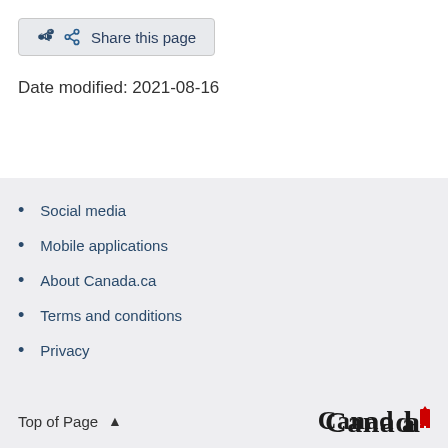Share this page
Date modified: 2021-08-16
Social media
Mobile applications
About Canada.ca
Terms and conditions
Privacy
Top of Page  Canada